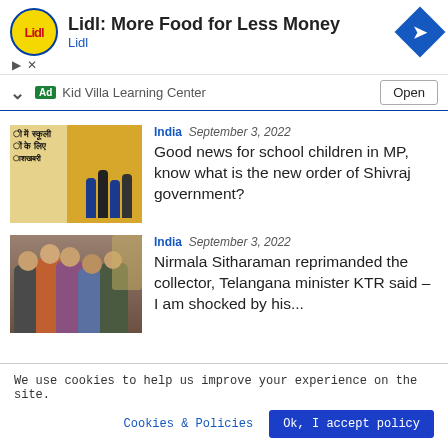[Figure (screenshot): Lidl advertisement banner with yellow logo, 'Lidl: More Food for Less Money' headline, blue navigation arrow icon]
Ad  Kid Villa Learning Center  Open
[Figure (photo): School children running in uniform near a yellow school bus, with Hindi text overlay]
India  September 3, 2022
Good news for school children in MP, know what is the new order of Shivraj government?
[Figure (photo): Group of people including politicians in traditional dress, Nirmala Sitharaman scene]
India  September 3, 2022
Nirmala Sitharaman reprimanded the collector, Telangana minister KTR said – I am shocked by his...
We use cookies to help us improve your experience on the site.
Cookies & Policies   Ok, I accept policy